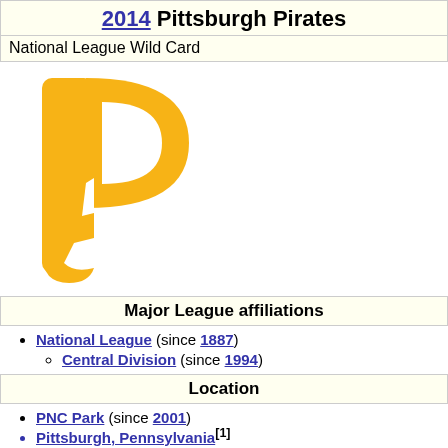2014 Pittsburgh Pirates
National League Wild Card
[Figure (logo): Pittsburgh Pirates golden 'P' logo]
Major League affiliations
National League (since 1887)
Central Division (since 1994)
Location
PNC Park (since 2001)